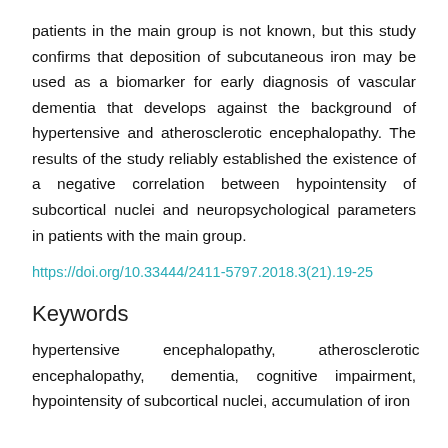patients in the main group is not known, but this study confirms that deposition of subcutaneous iron may be used as a biomarker for early diagnosis of vascular dementia that develops against the background of hypertensive and atherosclerotic encephalopathy. The results of the study reliably established the existence of a negative correlation between hypointensity of subcortical nuclei and neuropsychological parameters in patients with the main group.
https://doi.org/10.33444/2411-5797.2018.3(21).19-25
Keywords
hypertensive encephalopathy, atherosclerotic encephalopathy, dementia, cognitive impairment, hypointensity of subcortical nuclei, accumulation of iron